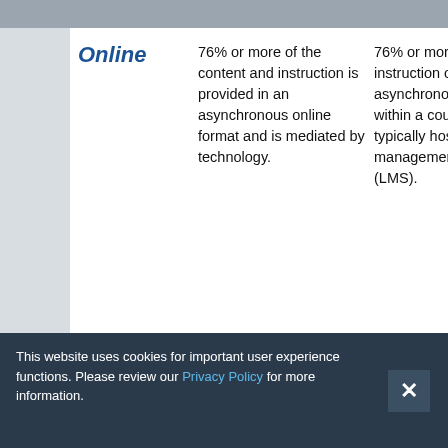Online
76% or more of the content and instruction is provided in an asynchronous online format and is mediated by technology.
76% or more of the instruction occurs asynchronously online within a course site, typically hosted a learning management system (LMS).
HE: Few to no face-to-face or remote instruction meetings.
This website uses cookies for important user experience functions. Please review our Privacy Policy for more information.